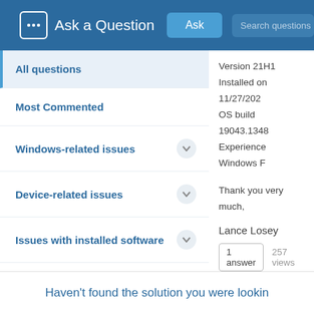Ask a Question  Ask  Search questions
All questions
Most Commented
Windows-related issues
Device-related issues
Issues with installed software
Issues with Auslogics software
Version 21H1
Installed on 11/27/202...
OS build 19043.1348
Experience Windows F...
Thank you very much,
Lance Losey
1 answer  257 views
Haven't found the solution you were lookin